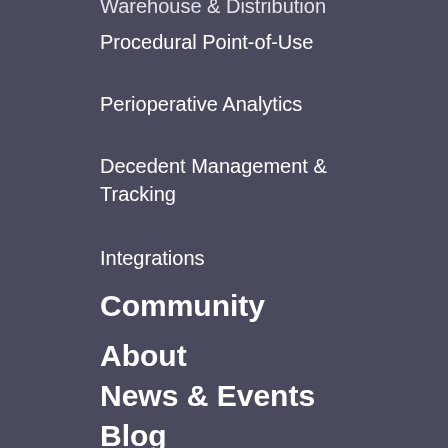Warehouse & Distribution
Procedural Point-of-Use
Perioperative Analytics
Decedent Management & Tracking
Integrations
Community
About
News & Events
Blog